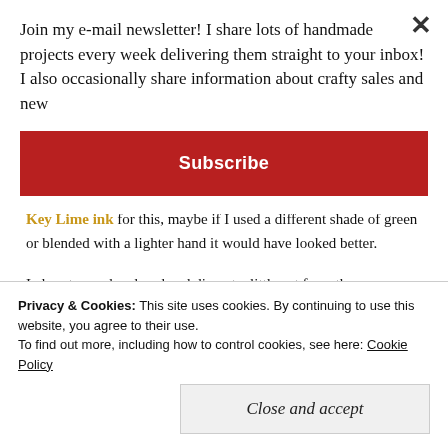Join my e-mail newsletter! I share lots of handmade projects every week delivering them straight to your inbox! I also occasionally share information about crafty sales and new
Subscribe
although I later regretted doing so – I think I over did it. I used Key Lime ink for this, maybe if I used a different shade of green or blended with a lighter hand it would have looked better.
I also stamped, colored and die-cut a little cat from the
Privacy & Cookies: This site uses cookies. By continuing to use this website, you agree to their use.
To find out more, including how to control cookies, see here: Cookie Policy
Close and accept